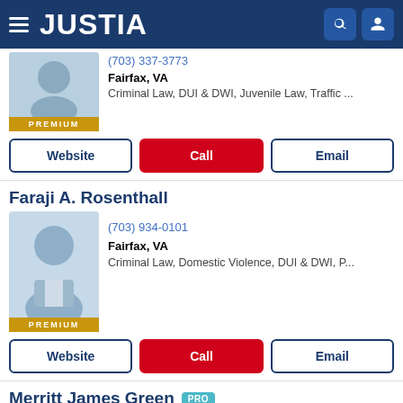JUSTIA
(703) 337-3773
Fairfax, VA
Criminal Law, DUI & DWI, Juvenile Law, Traffic ...
PREMIUM
Website | Call | Email
Faraji A. Rosenthall
(703) 934-0101
Fairfax, VA
Criminal Law, Domestic Violence, DUI & DWI, P...
PREMIUM
Website | Call | Email
Merritt James Green PRO